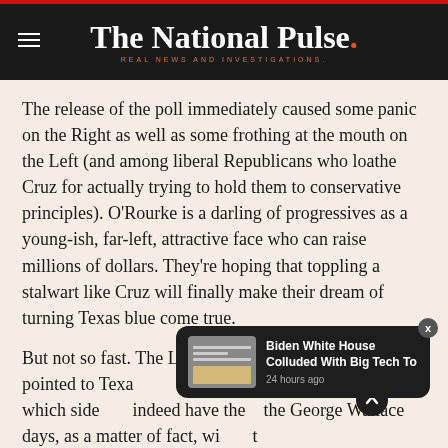The National Pulse. REAL NEWS AND INVESTIGATIONS.
The release of the poll immediately caused some panic on the Right as well as some frothing at the mouth on the Left (and among liberal Republicans who loathe Cruz for actually trying to hold them to conservative principles). O'Rourke is a darling of progressives as a young-ish, far-left, attractive face who can raise millions of dollars. They're hoping that toppling a stalwart like Cruz will finally make their dream of turning Texas blue come true.
But not so fast. The Left and their friends in the media pointed to Texa... see which side ... indeed have the... the George Wallace days, as a matter of fact, wi... it
[Figure (screenshot): Notification overlay: Biden White House Colluded With Big Tech To — 24 hours ago, with thumbnail image of documents]